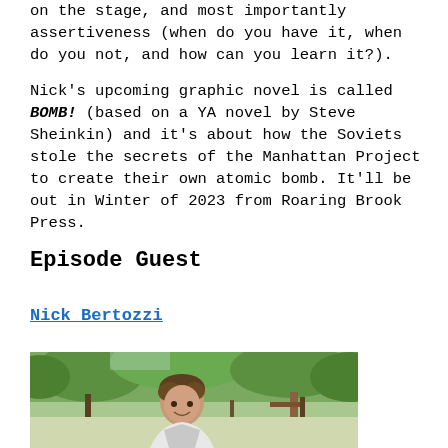on the stage, and most importantly assertiveness (when do you have it, when do you not, and how can you learn it?).

Nick's upcoming graphic novel is called BOMB! (based on a YA novel by Steve Sheinkin) and it's about how the Soviets stole the secrets of the Manhattan Project to create their own atomic bomb. It'll be out in Winter of 2023 from Roaring Brook Press.
Episode Guest
Nick Bertozzi
[Figure (photo): Photo of Nick Bertozzi, a man with brown hair smiling, outdoors with trees in the background]